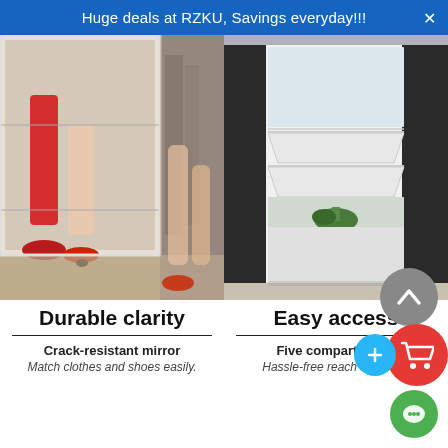Huge deals at RZKU, Savings everyday!!!
[Figure (photo): Two side-by-side product photos: left shows a woman's legs in a red dress and red heels reflected in a mirror; right shows a white shoe cabinet with multiple flip-down compartments and a mirror, open to reveal shelves.]
Durable clarity
Crack-resistant mirror
Match clothes and shoes easily.
Easy access
Five compartments
Hassle-free reach and keep